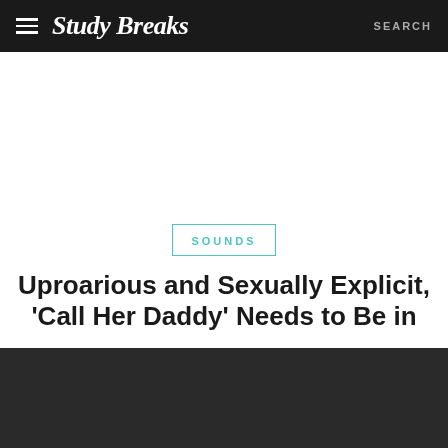Study Breaks  SEARCH
SOUNDS
Uproarious and Sexually Explicit, 'Call Her Daddy' Needs to Be in